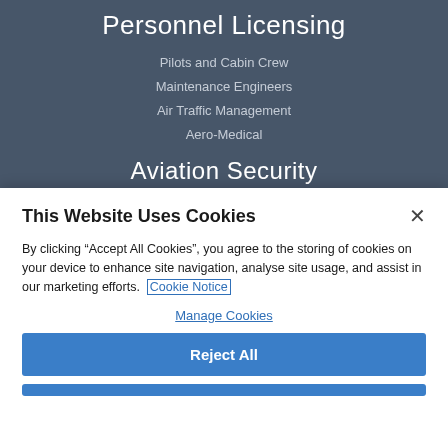Personnel Licensing
Pilots and Cabin Crew
Maintenance Engineers
Air Traffic Management
Aero-Medical
Aviation Security
Guidance Material
This Website Uses Cookies
By clicking “Accept All Cookies”, you agree to the storing of cookies on your device to enhance site navigation, analyse site usage, and assist in our marketing efforts.  Cookie Notice
Manage Cookies
Reject All